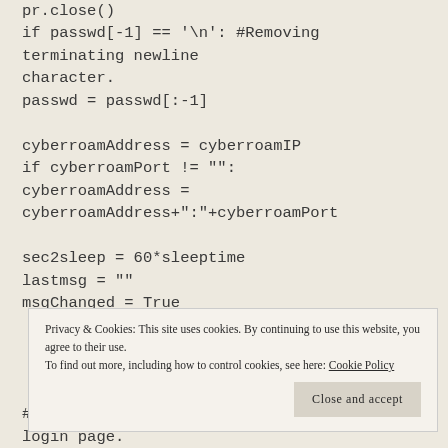pr.close()
if passwd[-1] == '\n': #Removing terminating newline character.
passwd = passwd[:-1]

cyberroamAddress = cyberroamIP
if cyberroamPort != "":
cyberroamAddress =
cyberroamAddress+":"+cyberroamPort

sec2sleep = 60*sleeptime
lastmsg = ""
msgChanged = True
Privacy & Cookies: This site uses cookies. By continuing to use this website, you agree to their use.
To find out more, including how to control cookies, see here: Cookie Policy
# Logging in and fetching the Cyberroam login page.